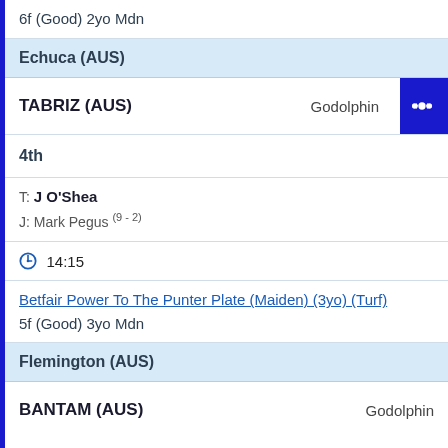6f (Good) 2yo Mdn
Echuca (AUS)
TABRIZ (AUS)    Godolphin
4th
T: J O'Shea
J: Mark Pegus (9 - 2)
14:15
Betfair Power To The Punter Plate (Maiden) (3yo) (Turf)
5f (Good) 3yo Mdn
Flemington (AUS)
BANTAM (AUS)    Godolphin